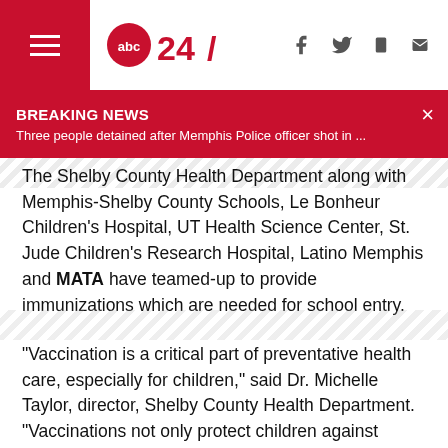abc24/ [logo] f [twitter] [mobile] [email]
BREAKING NEWS
Three people detained after Memphis Police officer shot in ...
The Shelby County Health Department along with Memphis-Shelby County Schools, Le Bonheur Children’s Hospital, UT Health Science Center, St. Jude Children’s Research Hospital, Latino Memphis and MATA have teamed-up to provide immunizations which are needed for school entry.
“Vaccination is a critical part of preventative health care, especially for children,” said Dr. Michelle Taylor, director, Shelby County Health Department. “Vaccinations not only protect children against deadly diseases, such as polio, tetanus, and diphtheria, but they also keep others safe by